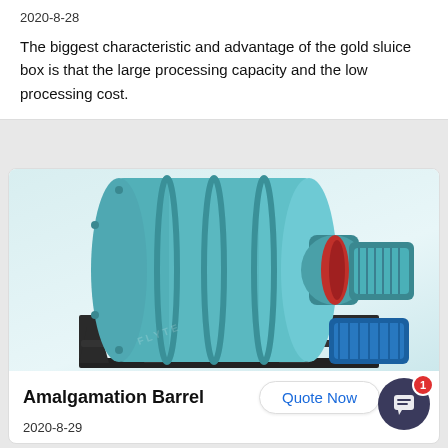2020-8-28
The biggest characteristic and advantage of the gold sluice box is that the large processing capacity and the low processing cost.
[Figure (photo): Photo of an Amalgamation Barrel machine — a large teal/cyan horizontal rotating drum mounted on a dark metal frame, with red and teal motor components on the right side and a blue electric motor below.]
Amalgamation Barrel
Quote Now
2020-8-29